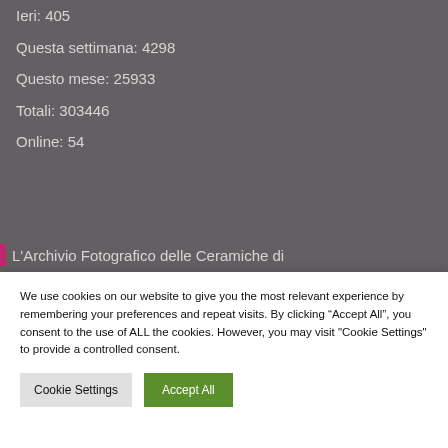Ieri: 405
Questa settimana: 4298
Questo mese: 25933
Totali: 303446
Online: 54
L'Archivio Fotografico delle Ceramiche di
We use cookies on our website to give you the most relevant experience by remembering your preferences and repeat visits. By clicking “Accept All”, you consent to the use of ALL the cookies. However, you may visit "Cookie Settings" to provide a controlled consent.
Cookie Settings  Accept All